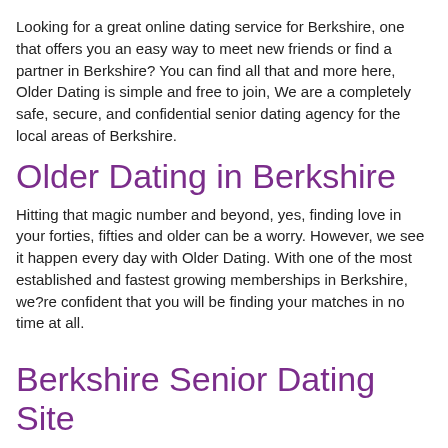Looking for a great online dating service for Berkshire, one that offers you an easy way to meet new friends or find a partner in Berkshire? You can find all that and more here, Older Dating is simple and free to join, We are a completely safe, secure, and confidential senior dating agency for the local areas of Berkshire.
Older Dating in Berkshire
Hitting that magic number and beyond, yes, finding love in your forties, fifties and older can be a worry. However, we see it happen every day with Older Dating. With one of the most established and fastest growing memberships in Berkshire, we?re confident that you will be finding your matches in no time at all.
Berkshire Senior Dating Site